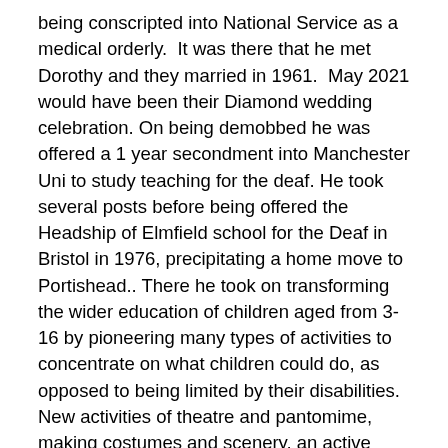being conscripted into National Service as a medical orderly.  It was there that he met Dorothy and they married in 1961.  May 2021 would have been their Diamond wedding celebration. On being demobbed he was offered a 1 year secondment into Manchester Uni to study teaching for the deaf. He took several posts before being offered the Headship of Elmfield school for the Deaf in Bristol in 1976, precipitating a home move to Portishead.. There he took on transforming the wider education of children aged from 3-16 by pioneering many types of activities to concentrate on what children could do, as opposed to being limited by their disabilities. New activities of theatre and pantomime, making costumes and scenery, an active PTA, fundraising for a minibus and outside activities, Fetes and BBQs to name but some. Mike being the only man on staff even became the BBQ chef.  Whilst all this was going on he and Dorothy were raising their own children Richard, Rachel and Kate and little Tim who unfortunately died aged just 2.  Mike retired in 1995 after nearly 20 years at Elmfield, but was encouraged by Swansea Uni to pass on his experience to